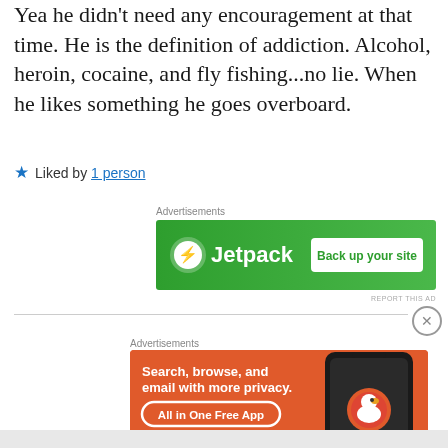Yea he didn't need any encouragement at that time. He is the definition of addiction. Alcohol, heroin, cocaine, and fly fishing...no lie. When he likes something he goes overboard.
★ Liked by 1 person
[Figure (screenshot): Jetpack advertisement banner: green background with Jetpack logo and 'Back up your site' button]
[Figure (screenshot): DuckDuckGo advertisement: orange background, 'Search, browse, and email with more privacy. All in One Free App' with phone image showing DuckDuckGo logo]